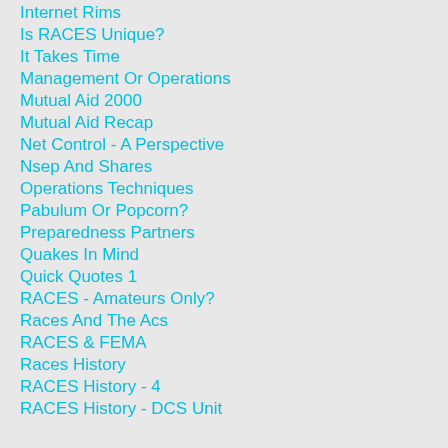Internet Rims
Is RACES Unique?
It Takes Time
Management Or Operations
Mutual Aid 2000
Mutual Aid Recap
Net Control - A Perspective
Nsep And Shares
Operations Techniques
Pabulum Or Popcorn?
Preparedness Partners
Quakes In Mind
Quick Quotes 1
RACES - Amateurs Only?
Races And The Acs
RACES & FEMA
Races History
RACES History - 4
RACES History - DCS Unit